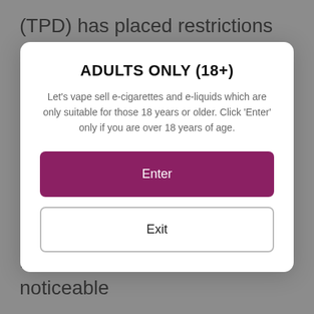(TPD) has placed restrictions on the sale of eliquids containing nicotine. These may not be sold in volumes exceeding 10ml.
ADULTS ONLY (18+)
Let's vape sell e-cigarettes and e-liquids which are only suitable for those 18 years or older. Click 'Enter' only if you are over 18 years of age.
Enter
Exit
Our handy mix kits are available with either freebase nicotine or salt nicotine. Freebase nicotine provides noticeable